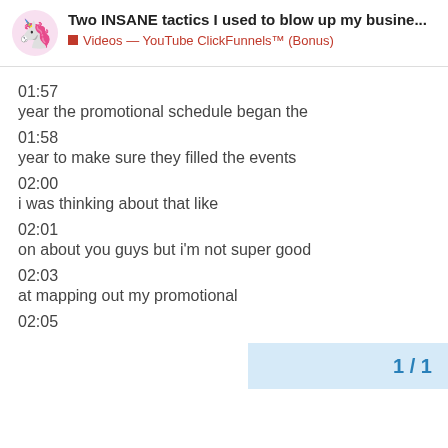Two INSANE tactics I used to blow up my busine...
Videos — YouTube ClickFunnels™ (Bonus)
01:57
year the promotional schedule began the
01:58
year to make sure they filled the events
02:00
i was thinking about that like
02:01
on about you guys but i'm not super good
02:03
at mapping out my promotional
02:05
1 / 1